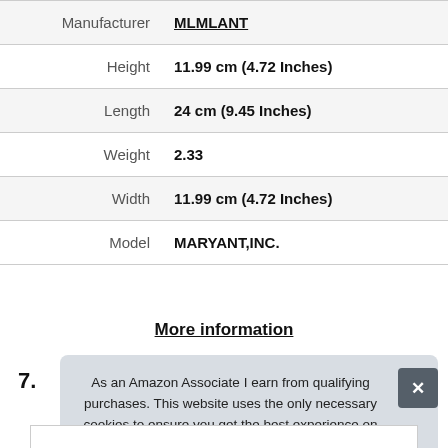| Attribute | Value |
| --- | --- |
| Manufacturer | MLMLANT |
| Height | 11.99 cm (4.72 Inches) |
| Length | 24 cm (9.45 Inches) |
| Weight | 2.33 |
| Width | 11.99 cm (4.72 Inches) |
| Model | MARYANT,INC. |
More information
7.
As an Amazon Associate I earn from qualifying purchases. This website uses the only necessary cookies to ensure you get the best experience on our website. More information